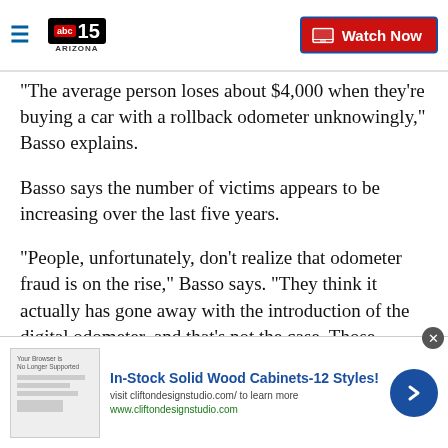ABC15 Arizona — Watch Now
"The average person loses about $4,000 when they're buying a car with a rollback odometer unknowingly," Basso explains.
Basso says the number of victims appears to be increasing over the last five years.
"People, unfortunately, don't realize that odometer fraud is on the rise," Basso says. “They think it actually has gone away with the introduction of the digital odometer, and that’s not the case. Those
[Figure (other): Advertisement banner for In-Stock Solid Wood Cabinets-12 Styles at cliftondesignstudio.com with a thumbnail image, close button, and forward arrow button.]